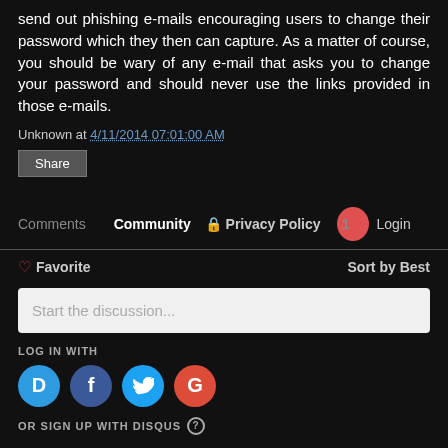send out phishing e-mails encouraging users to change their password which they then can capture. As a matter of course, you should be wary of any e-mail that asks you to change your password and should never use the links provided in those e-mails.
Unknown at 4/11/2014 07:01:00 AM
Share
Comments | Community | Privacy Policy | 1 | Login
Favorite | Sort by Best
Start the discussion...
LOG IN WITH
[Figure (infographic): Social login icons: Disqus (blue), Facebook (dark blue), Twitter (light blue), Google (red)]
OR SIGN UP WITH DISQUS ?